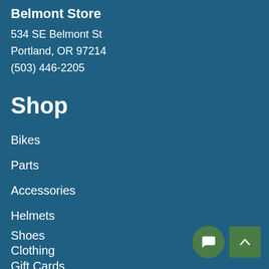Belmont Store
534 SE Belmont St
Portland, OR 97214
(503) 446-2205
Shop
Bikes
Parts
Accessories
Helmets
Shoes
Clothing
Gift Cards
[Figure (illustration): Chat button (speech bubble icon) and scroll-to-top button (chevron up icon) in green circles/squares at bottom right]